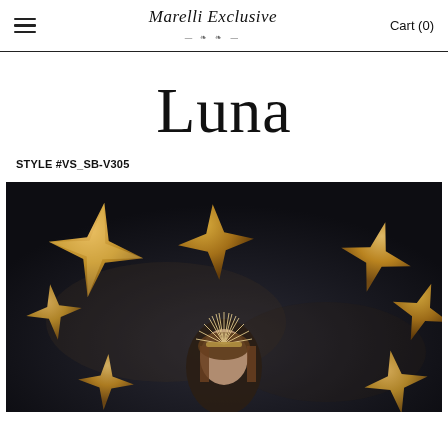Marelli Exclusive   Cart (0)
Luna
STYLE #VS_SB-V305
[Figure (photo): Fashion editorial photo of a woman wearing a crown/halo headpiece, surrounded by large golden geometric star sculptures on a dark background.]